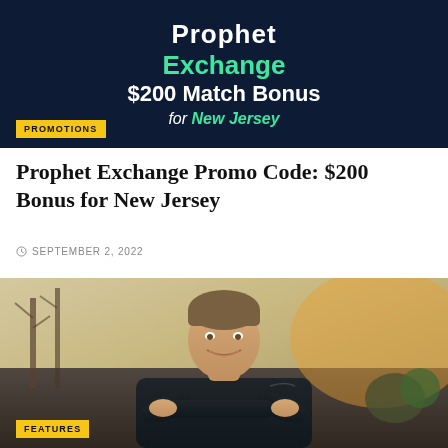[Figure (photo): Prophet Exchange promotional banner with dark navy background showing 'Prophet Exchange $200 Match Bonus for New Jersey' text with green accent color and PROMOTIONS tag in yellow]
Prophet Exchange Promo Code: $200 Bonus for New Jersey
SEPTEMBER 2, 2022
[Figure (photo): Photo of a smiling man with arms crossed wearing a dark polo shirt, outdoors with trees in background, FEATURES tag in yellow at bottom left]